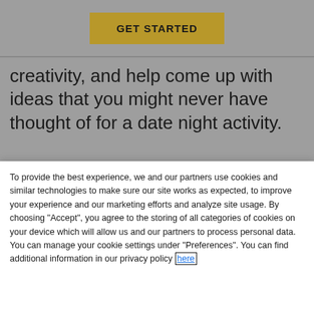[Figure (screenshot): GET STARTED button on gray background at top of page]
creativity, and help come up with ideas that you might never have thought of for a date night activity.
[Figure (illustration): Dark green rectangular box]
To provide the best experience, we and our partners use cookies and similar technologies to make sure our site works as expected, to improve your experience and our marketing efforts and analyze site usage. By choosing "Accept", you agree to the storing of all categories of cookies on your device which will allow us and our partners to process personal data. You can manage your cookie settings under "Preferences". You can find additional information in our privacy policy here